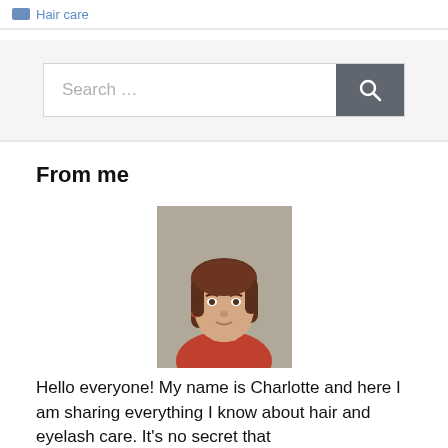Hair care
[Figure (screenshot): Search bar with placeholder text 'Search ...' and a dark gray search button with magnifying glass icon]
From me
[Figure (photo): Portrait photo of a young woman with brown hair, smiling slightly, indoor background]
Hello everyone! My name is Charlotte and here I am sharing everything I know about hair and eyelash care. It's no secret that